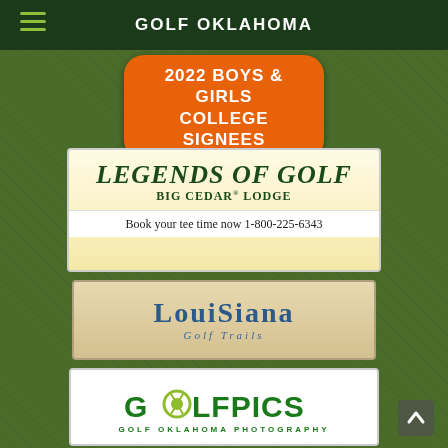GOLF OKLAHOMA
2022 BOYS & GIRLS COLLEGE SIGNEES
[Figure (logo): Legends of Golf Big Cedar Lodge advertisement — Book your tee time now 1-800-225-6343]
[Figure (logo): Louisiana Golf Trails advertisement logo]
[Figure (logo): GolfPics Golf Oklahoma Photography advertisement logo]